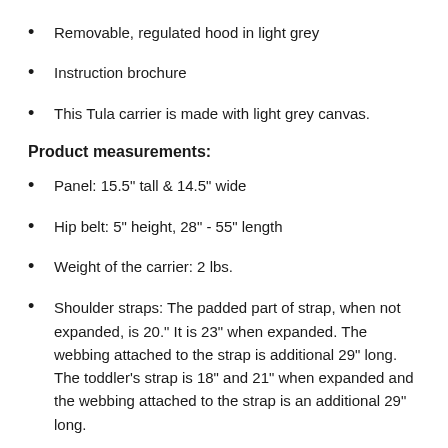Removable, regulated hood in light grey
Instruction brochure
This Tula carrier is made with light grey canvas.
Product measurements:
Panel: 15.5" tall & 14.5" wide
Hip belt: 5" height, 28" - 55" length
Weight of the carrier: 2 lbs.
Shoulder straps: The padded part of strap, when not expanded, is 20." It is 23" when expanded. The webbing attached to the strap is additional 29" long. The toddler's strap is 18" and 21" when expanded and the webbing attached to the strap is an additional 29" long.